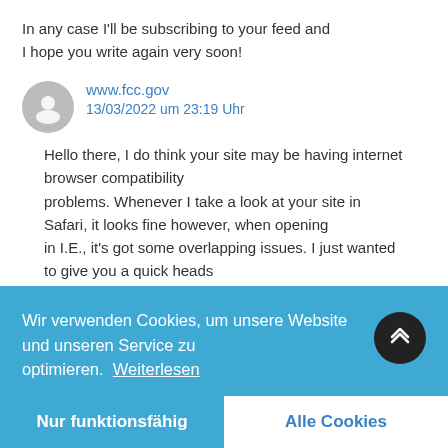In any case I'll be subscribing to your feed and I hope you write again very soon!
www.fcc.gov
13/03/2022 um 23:19 Uhr
Hello there, I do think your site may be having internet browser compatibility problems. Whenever I take a look at your site in Safari, it looks fine however, when opening in I.E., it's got some overlapping issues. I just wanted to give you a quick heads up! Aside from that, excellent site!
Wir verwenden Cookies, um unsere Website und unseren Service zu optimieren. Weiterlesen
Nur funktionsfähig
Alle Cookies